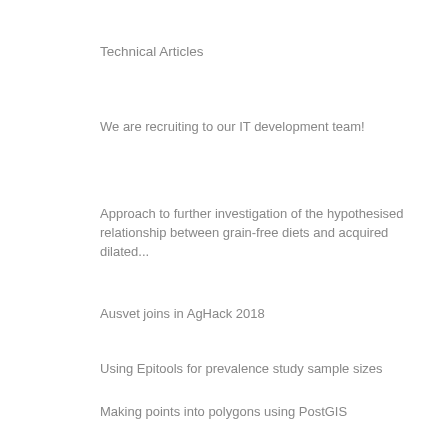Technical Articles
We are recruiting to our IT development team!
Approach to further investigation of the hypothesised relationship between grain-free diets and acquired dilated...
Ausvet joins in AgHack 2018
Using Epitools for prevalence study sample sizes
Making points into polygons using PostGIS
Defining a Mapserver Circle Symbol
Simple Killer Queries
Seaway distances with PostgreSQL
Temporo-spatial visualisation of disease outbreaks